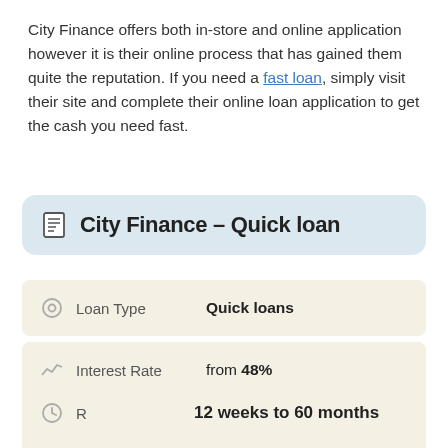City Finance offers both in-store and online application however it is their online process that has gained them quite the reputation. If you need a fast loan, simply visit their site and complete their online loan application to get the cash you need fast.
City Finance – Quick loan
| Field | Value |
| --- | --- |
| Loan Type | Quick loans |
| Interest Rate | from 48% |
| Loan Amount | up to $5,000 |
| Repayment | 12 weeks to 60 months |